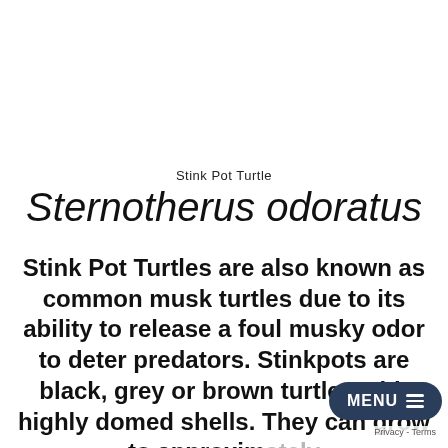Stink Pot Turtle
Sternotherus odoratus
Stink Pot Turtles are also known as common musk turtles due to its ability to release a foul musky odor to deter predators. Stinkpots are black, grey or brown turtles with highly domed shells. They can grow to approximately 3 to 5〃inches. They have long necks and r…